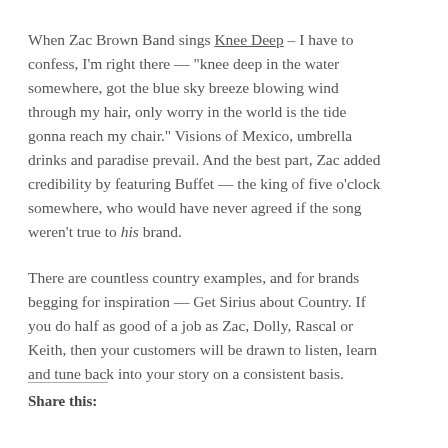When Zac Brown Band sings Knee Deep – I have to confess, I'm right there — "knee deep in the water somewhere, got the blue sky breeze blowing wind through my hair, only worry in the world is the tide gonna reach my chair." Visions of Mexico, umbrella drinks and paradise prevail. And the best part, Zac added credibility by featuring Buffet — the king of five o'clock somewhere, who would have never agreed if the song weren't true to his brand.
There are countless country examples, and for brands begging for inspiration — Get Sirius about Country. If you do half as good of a job as Zac, Dolly, Rascal or Keith, then your customers will be drawn to listen, learn and tune back into your story on a consistent basis.
Share this: